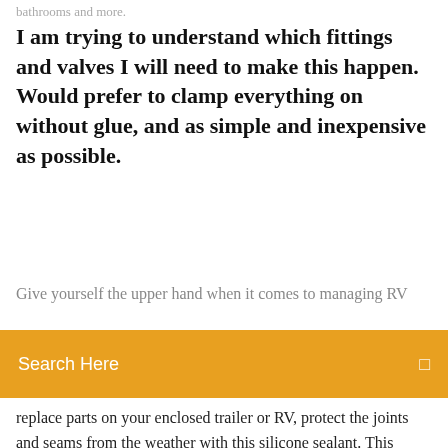bathrooms and more.
I am trying to understand which fittings and valves I will need to make this happen. Would prefer to clamp everything on without glue, and as simple and inexpensive as possible.
Give yourself the upper hand when it comes to managing RV
[Figure (screenshot): Orange search bar with text 'Search Here' and a search icon on the right]
replace parts on your enclosed trailer or RV, protect the joints and seams from the weather with this silicone sealant. This gener How To Secure An Electric Waste Valve for RV Black Water Tanks We carry a wide selection of RV Parts & RV Accessories as well as Camping, Tailgating & Outdoor Gear. Thousands of outdoor and RV related products in stock and ready to ship to your door. Wide selection of sinks from top brands such as Thetford and Better Bath. Replacement RV sinks available today. Shop our selection of interior RV lights for hallways, bedrooms, bathrooms and more.